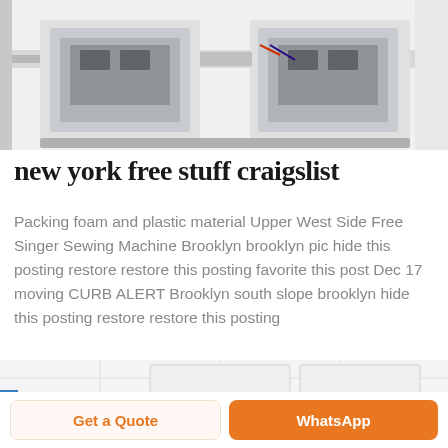[Figure (photo): Industrial packaging/labeling machine, aluminum frame with conveyor belts, partially cropped at top]
new york free stuff craigslist
Packing foam and plastic material Upper West Side Free Singer Sewing Machine Brooklyn brooklyn pic hide this posting restore restore this posting favorite this post Dec 17 moving CURB ALERT Brooklyn south slope brooklyn hide this posting restore restore this posting
[Figure (photo): Industrial warehouse shelving with blue metal racks, white ceiling panels, partially cropped at bottom]
Get a Quote
WhatsApp